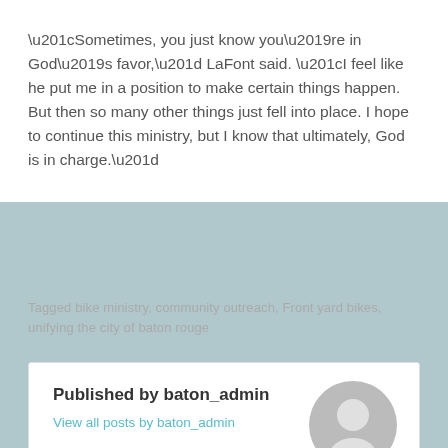“Sometimes, you just know you’re in God’s favor,” LaFont said. “I feel like he put me in a position to make certain things happen. But then so many other things just fell into place. I hope to continue this ministry, but I know that ultimately, God is in charge.”
Tagged bike ministry, community outreach, Front yard bikes, unifying the city of baton rouge
Published by baton_admin
View all posts by baton_admin